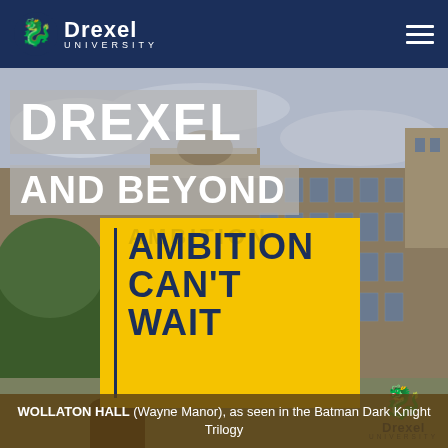Drexel University
[Figure (photo): Background photo of Wollaton Hall (Wayne Manor), a grand historic stone mansion, with overcast sky. A hand holds up a yellow Drexel University promotional card reading 'Ambition Can't Wait' in front of the building.]
DREXEL AND BEYOND
WOLLATON HALL (Wayne Manor), as seen in the Batman Dark Knight Trilogy